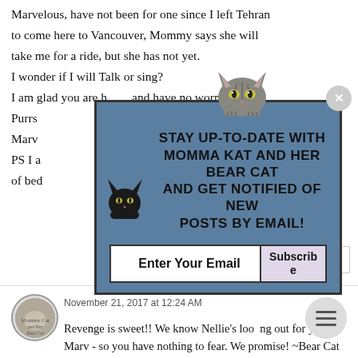Marvelous, have not been for one since I left Tehran to come here to Vancouver, Mommy says she will take me for a ride, but she has not yet.
I wonder if I will Talk or sing?
I am glad you are health and have no worms.
Purrs
Marv
PS I a…om fall out of bed…
[Figure (illustration): Popup overlay with cartoon cat illustration at top, dark blue/steel background with bold black uppercase text: STAY UP-TO-DATE WITH MOMMA KAT AND HER BEAR CAT AND GET NOTIFIED OF NEW POSTS BY EMAIL! Small black cat illustration at bottom left of popup. Close X button top right. Email input field and Subscribe button at bottom.]
Reply
November 21, 2017 at 12:24 AM
Revenge is sweet!! We know Nellie's looking out for you, Marv - so you have nothing to fear. We promise! ~Bear Cat